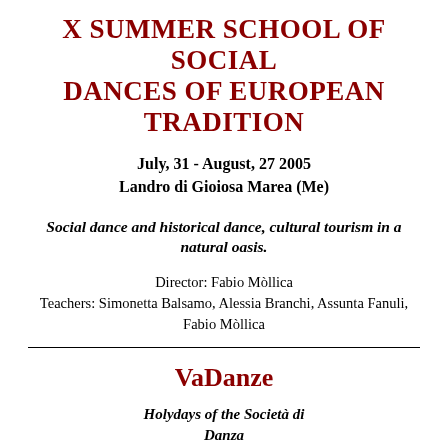X SUMMER SCHOOL OF SOCIAL DANCES OF EUROPEAN TRADITION
July, 31 - August, 27 2005
Landro di Gioiosa Marea (Me)
Social dance and historical dance, cultural tourism in a natural oasis.
Director: Fabio Möllica
Teachers: Simonetta Balsamo, Alessia Branchi, Assunta Fanuli, Fabio Möllica
VaDanze
Holydays of the Società di Danza
June, 18 - September, 3, 2005
Landro di Gioiosa Marea (Me)